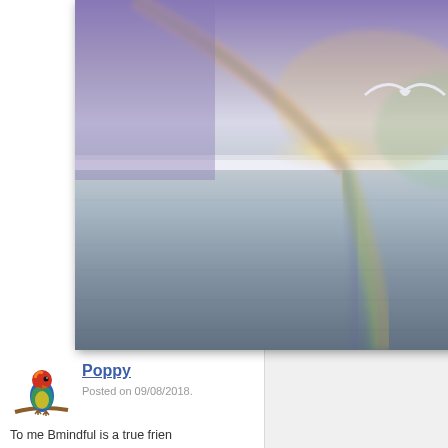[Figure (photo): A colorful fantasy sky-over-ocean scene with rainbow hues (purple, blue, yellow, green) reflected on calm water, with a seagull in flight. Shown in a modal overlay window with a close (X) button.]
RECENT ACTIVITY
[Figure (illustration): Small avatar illustration of a colorful parrot (lorikeet) perched on a branch, facing left.]
Poppy
Posted on 09/08/2018.
To me Bmindful is a true frien... reprisals, or cry a little. I can g...